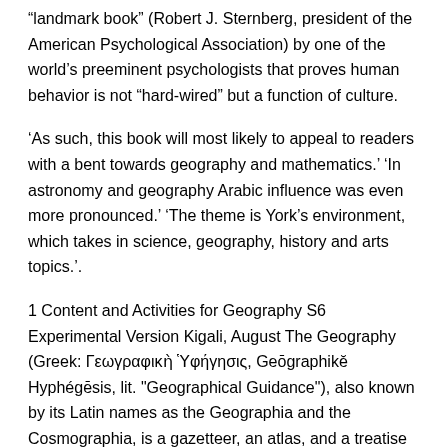„landmark book” (Robert J. Sternberg, president of the American Psychological Association) by one of the world’s preeminent psychologists that proves human behavior is not “hard-wired” but a function of culture.
‘As such, this book will most likely to appeal to readers with a bent towards geography and mathematics.’ ‘In astronomy and geography Arabic influence was even more pronounced.’ ‘The theme is York’s environment, which takes in science, geography, history and arts topics.’.
1 Content and Activities for Geography S6 Experimental Version Kigali, August The Geography (Greek: Γεωγραφικὴ Ὑφήγησις, Geōgraphikĕ Hyphégēsis, lit. "Geographical Guidance"), also known by its Latin names as the Geographia and the Cosmographia, is a gazetteer, an atlas, and a treatise on cartography, compiling the geographical knowledge.
Welcome to the ITS Education Asia comprehensive source of definitions for Geography related terms. The definitions cover a range